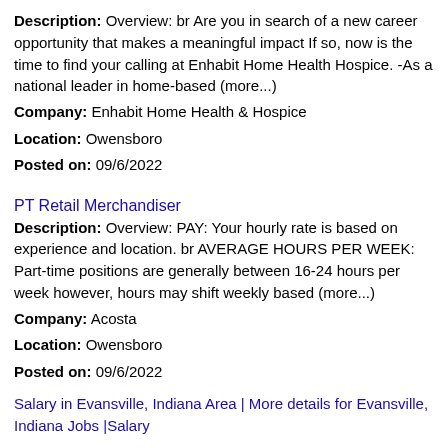Description: Overview: br Are you in search of a new career opportunity that makes a meaningful impact If so, now is the time to find your calling at Enhabit Home Health Hospice. -As a national leader in home-based (more...)
Company: Enhabit Home Health & Hospice
Location: Owensboro
Posted on: 09/6/2022
PT Retail Merchandiser
Description: Overview: PAY: Your hourly rate is based on experience and location. br AVERAGE HOURS PER WEEK: Part-time positions are generally between 16-24 hours per week however, hours may shift weekly based (more...)
Company: Acosta
Location: Owensboro
Posted on: 09/6/2022
Salary in Evansville, Indiana Area | More details for Evansville, Indiana Jobs |Salary
Registered Nurse (RN) - Emergency Room (ER) - 3x12 Nights
Description: Centra Healthcare Solutions is seeking an experienced Registered Nurse RN that is licensed or in the